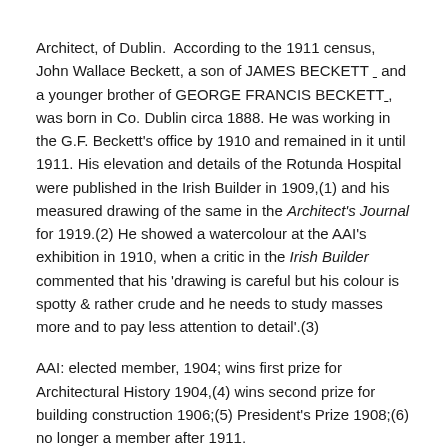Architect, of Dublin.  According to the 1911 census, John Wallace Beckett, a son of JAMES BECKETT  and a younger brother of GEORGE FRANCIS BECKETT , was born in Co. Dublin circa 1888. He was working in the G.F. Beckett's office by 1910 and remained in it until 1911. His elevation and details of the Rotunda Hospital were published in the Irish Builder in 1909,(1) and his measured drawing of the same in the Architect's Journal for 1919.(2) He showed a watercolour at the AAI's exhibition in 1910, when a critic in the Irish Builder commented that his 'drawing is careful but his colour is spotty & rather crude and he needs to study masses more and to pay less attention to detail'.(3)
AAI: elected member, 1904; wins first prize for Architectural History 1904,(4) wins second prize for building construction 1906;(5) President's Prize 1908;(6) no longer a member after 1911.
Address: Work: 97 St Stephen's Green, 1910-11.
Home: Riverside, Herbert Road, Sandymount, 1904-1909.
See WORKS.